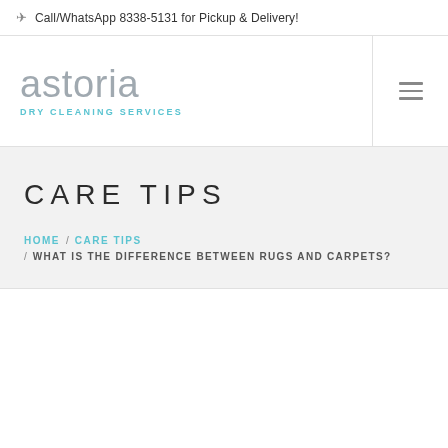Call/WhatsApp 8338-5131 for Pickup & Delivery!
[Figure (logo): Astoria Dry Cleaning Services logo — stylized lowercase 'astoria' in grey with a teal dot above the 'i', and 'DRY CLEANING SERVICES' in teal spaced caps below]
CARE TIPS
HOME / CARE TIPS / WHAT IS THE DIFFERENCE BETWEEN RUGS AND CARPETS?